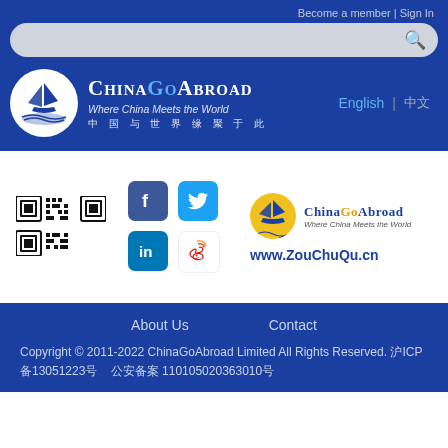Become a member | Sign In
[Figure (logo): ChinaGoAbroad logo with ship in circle, tagline 'Where China Meets the World' and Chinese text '中国与世界缘聚于此', with English/Chinese language switcher]
[Figure (other): QR code]
[Figure (other): Social media icons: Facebook, Twitter, LinkedIn, Weibo]
[Figure (logo): ChinaGoAbroad logo with ship, text 'Where China Meets the World' and website www.ZouChuQu.cn]
About Us    Contact
Copyright © 2011-2022 ChinaGoAbroad Limited All Rights Reserved. 沪ICP备13051223号  公安备案 110105020363010号